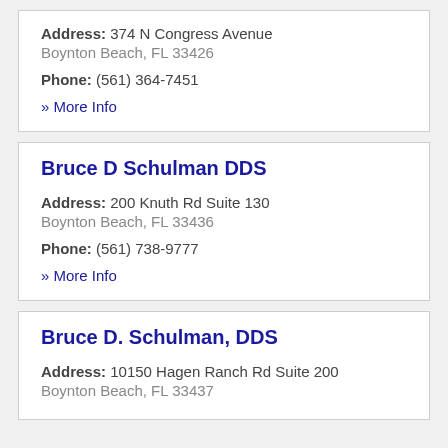Address: 374 N Congress Avenue
Boynton Beach, FL 33426
Phone: (561) 364-7451
» More Info
Bruce D Schulman DDS
Address: 200 Knuth Rd Suite 130
Boynton Beach, FL 33436
Phone: (561) 738-9777
» More Info
Bruce D. Schulman, DDS
Address: 10150 Hagen Ranch Rd Suite 200
Boynton Beach, FL 33437